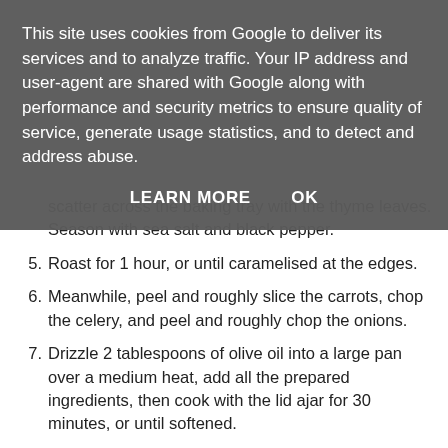This site uses cookies from Google to deliver its services and to analyze traffic. Your IP address and user-agent are shared with Google along with performance and security metrics to ensure quality of service, generate usage statistics, and to detect and address abuse.
LEARN MORE    OK
scatter across the baking tray with the thyme leaves. Season with sea salt and black pepper.
5. Roast for 1 hour, or until caramelised at the edges.
6. Meanwhile, peel and roughly slice the carrots, chop the celery, and peel and roughly chop the onions.
7. Drizzle 2 tablespoons of olive oil into a large pan over a medium heat, add all the prepared ingredients, then cook with the lid ajar for 30 minutes, or until softened.
8. Crumble the stock cubes into a jug, cover with 1.5 litres of boiling water, and stir until dissolved.
9. Once cooked, add the pumpkin or squash to the pan and pour over the stock. Squeeze the garlic out of its skin and add to the pan.